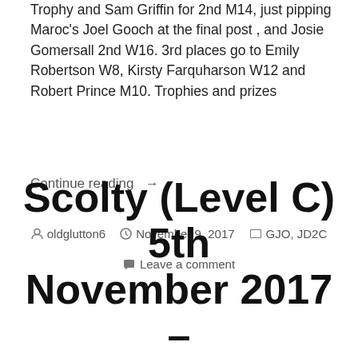Trophy and Sam Griffin for 2nd M14, just pipping Maroc's Joel Gooch at the final post , and Josie Gomersall 2nd W16. 3rd places go to Emily Robertson W8, Kirsty Farquharson W12 and Robert Prince M10. Trophies and prizes
Continue reading →
oldglutton6   November 9, 2017   GJO, JD2C   Leave a comment
Scolty (Level C) 5th November 2017 –